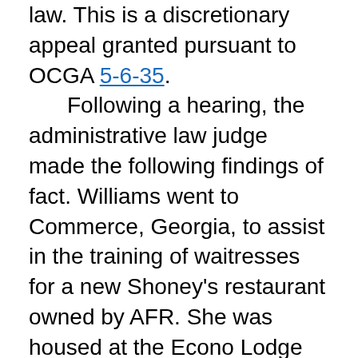law. This is a discretionary appeal granted pursuant to OCGA 5-6-35. Following a hearing, the administrative law judge made the following findings of fact. Williams went to Commerce, Georgia, to assist in the training of waitresses for a new Shoney's restaurant owned by AFR. She was housed at the Econo Lodge motel along with several other members of the training staff. After working for several days, she and some other employees decided that their uniforms needed washing. The supervisory personnel were staying at a Holiday Inn motel nearby which had laundry facilities. It was decided that while the laundry was being done,